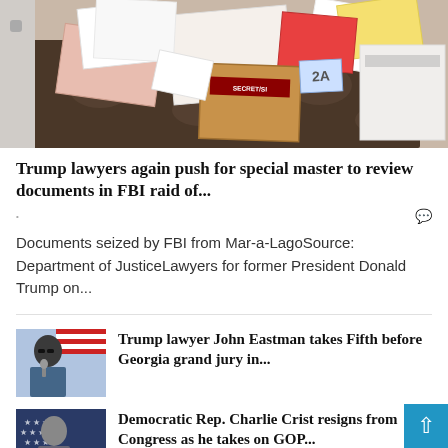[Figure (photo): Documents seized by FBI from Mar-a-Lago spread on a table, including envelopes and folders with classification markings]
Trump lawyers again push for special master to review documents in FBI raid of...
Documents seized by FBI from Mar-a-LagoSource: Department of JusticeLawyers for former President Donald Trump on...
[Figure (photo): Photo of John Eastman speaking at a podium with American flags in background, wearing sunglasses]
Trump lawyer John Eastman takes Fifth before Georgia grand jury in...
[Figure (photo): Photo of Charlie Crist against American flag background]
Democratic Rep. Charlie Crist resigns from Congress as he takes on GOP...